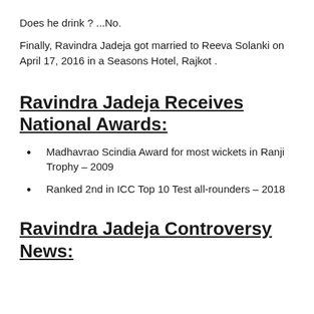Does he drink ? ...No.
Finally, Ravindra Jadeja got married to Reeva Solanki on April 17, 2016 in a Seasons Hotel, Rajkot .
Ravindra Jadeja Receives National Awards:
Madhavrao Scindia Award for most wickets in Ranji Trophy – 2009
Ranked 2nd in ICC Top 10 Test all-rounders – 2018
Ravindra Jadeja Controversy News: